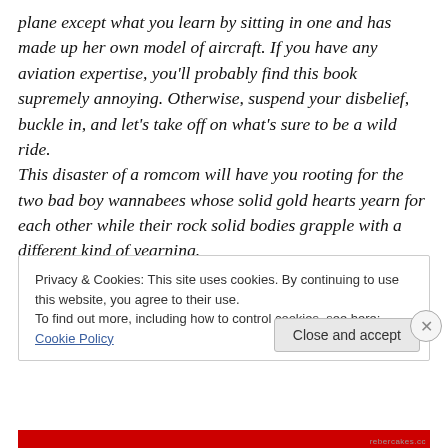plane except what you learn by sitting in one and has made up her own model of aircraft. If you have any aviation expertise, you'll probably find this book supremely annoying. Otherwise, suspend your disbelief, buckle in, and let's take off on what's sure to be a wild ride. This disaster of a romcom will have you rooting for the two bad boy wannabees whose solid gold hearts yearn for each other while their rock solid bodies grapple with a different kind of yearning.
Privacy & Cookies: This site uses cookies. By continuing to use this website, you agree to their use.
To find out more, including how to control cookies, see here: Cookie Policy